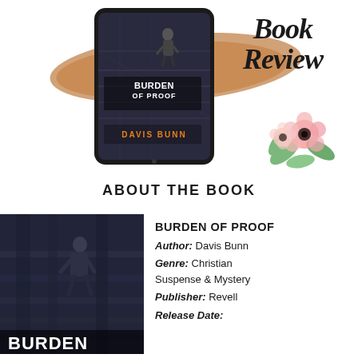[Figure (illustration): A tablet displaying the book cover of 'Burden of Proof' by Davis Bunn, with a brown brushstroke background decoration and a watercolor flower arrangement in the corner. Large cursive 'Book Review' text to the right.]
ABOUT THE BOOK
[Figure (photo): Book cover photo of 'Burden of Proof' by Davis Bunn showing a man in a suit walking on stairs in a dark urban setting.]
BURDEN OF PROOF
Author: Davis Bunn
Genre: Christian Suspense & Mystery
Publisher: Revell
Release Date: